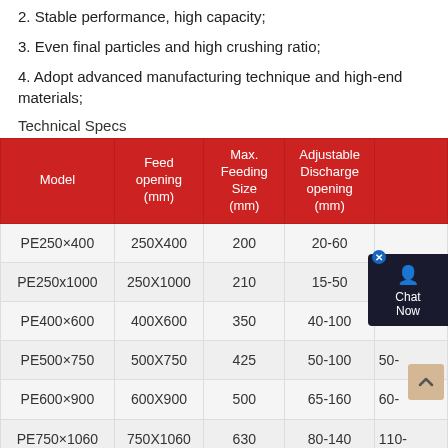2. Stable performance, high capacity;
3. Even final particles and high crushing ratio;
4. Adopt advanced manufacturing technique and high-end materials;
Technical Specs
| Model | Feed opening (mm) | Max. Feeding Size (mm) | Adjustable Discharge opening (mm) |  |
| --- | --- | --- | --- | --- |
| PE250×400 | 250X400 | 200 | 20-60 |  |
| PE250x1000 | 250X1000 | 210 | 15-50 | 15- |
| PE400×600 | 400X600 | 350 | 40-100 | 15- |
| PE500×750 | 500X750 | 425 | 50-100 | 50- |
| PE600×900 | 600X900 | 500 | 65-160 | 60- |
| PE750×1060 | 750X1060 | 630 | 80-140 | 110- |
|  |  |  |  |  |